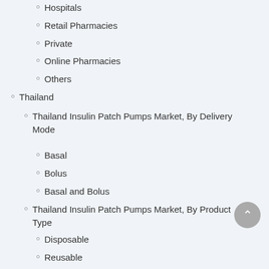Hospitals
Retail Pharmacies
Private
Online Pharmacies
Others
Thailand
Thailand Insulin Patch Pumps Market, By Delivery Mode
Basal
Bolus
Basal and Bolus
Thailand Insulin Patch Pumps Market, By Product Type
Disposable
Reusable
Thailand Insulin Patch Pumps Market, By Distribution C...
Hospitals
Retail Pharmacies